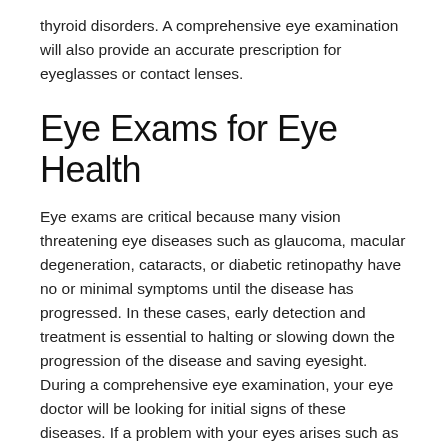thyroid disorders. A comprehensive eye examination will also provide an accurate prescription for eyeglasses or contact lenses.
Eye Exams for Eye Health
Eye exams are critical because many vision threatening eye diseases such as glaucoma, macular degeneration, cataracts, or diabetic retinopathy have no or minimal symptoms until the disease has progressed. In these cases, early detection and treatment is essential to halting or slowing down the progression of the disease and saving eyesight. During a comprehensive eye examination, your eye doctor will be looking for initial signs of these diseases. If a problem with your eyes arises such as red eyes, eye allergies, dry eyes, eye swelling,eye pain, always seek an eye doctor as your first doctor to call since they are specifically trained to treat eye diseases.
Eye Exams and Children